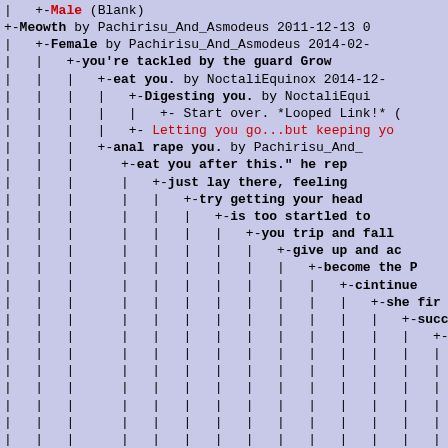Tree-structured story navigation interface showing nested story branches with authors and dates